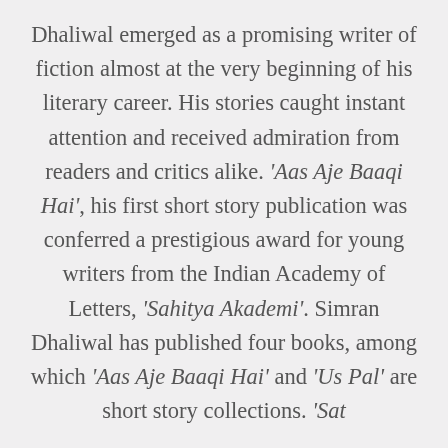Dhaliwal emerged as a promising writer of fiction almost at the very beginning of his literary career. His stories caught instant attention and received admiration from readers and critics alike. 'Aas Aje Baaqi Hai', his first short story publication was conferred a prestigious award for young writers from the Indian Academy of Letters, 'Sahitya Akademi'. Simran Dhaliwal has published four books, among which 'Aas Aje Baaqi Hai' and 'Us Pal' are short story collections. 'Sat